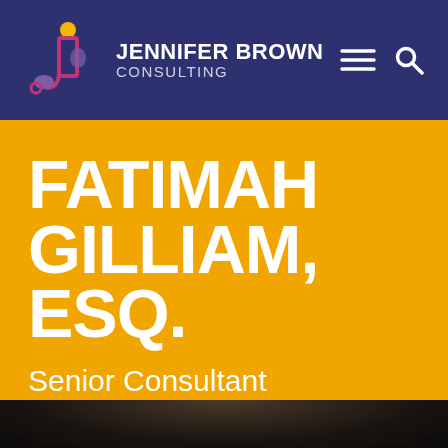[Figure (logo): Jennifer Brown Consulting logo with stylized 'jb' letters in pink/purple/yellow on dark navy background, with company name text]
FATIMAH GILLIAM, ESQ.
Senior Consultant
[Figure (photo): Partial photo of a person visible at the bottom of the page, dark background]